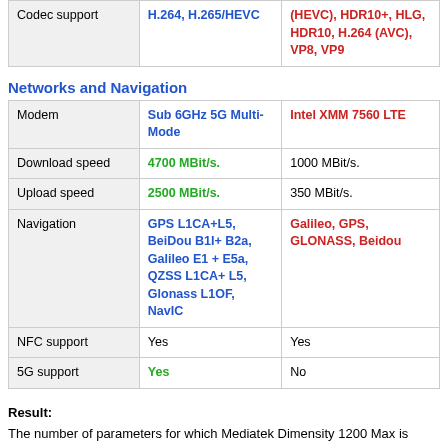|  | Mediatek Dimensity 1200 Max | Apple A12X Bionic |
| --- | --- | --- |
| Codec support | H.264, H.265/HEVC | (HEVC), HDR10+, HLG, HDR10, H.264 (AVC), VP8, VP9 |
Networks and Navigation
|  | Mediatek Dimensity 1200 Max | Apple A12X Bionic |
| --- | --- | --- |
| Modem | Sub 6GHz 5G Multi-Mode | Intel XMM 7560 LTE |
| Download speed | 4700 MBit/s. | 1000 MBit/s. |
| Upload speed | 2500 MBit/s. | 350 MBit/s. |
| Navigation | GPS L1CA+L5, BeiDou B1I+ B2a, Galileo E1 + E5a, QZSS L1CA+ L5, Glonass L1OF, NavIC | Galileo, GPS, GLONASS, Beidou |
| NFC support | Yes | Yes |
| 5G support | Yes | No |
Result: The number of parameters for which Mediatek Dimensity 1200 Max is better: 24. The number of parameters for which Apple A12X Bionic is better: 15. You need to understand that you should not blindly trust the